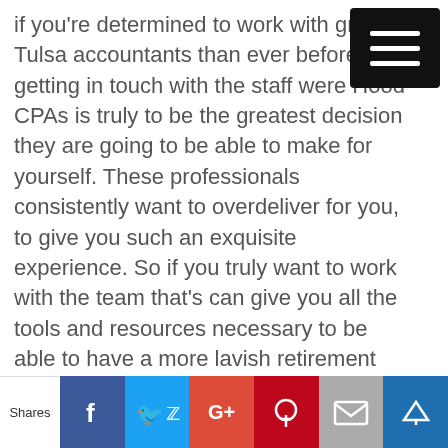if you're determined to work with great Tulsa accountants than ever before, getting in touch with the staff were Hood CPAs is truly to be the greatest decision they are going to be able to make for yourself. These professionals consistently want to overdeliver for you, to give you such an exquisite experience. So if you truly want to work with the team that's can give you all the tools and resources necessary to be able to have a more lavish retirement than you could've ever anticipated and this is absolutely abusive trust without a doubt. So do not waste
Shares | f | t | G+ | P | mail | crown